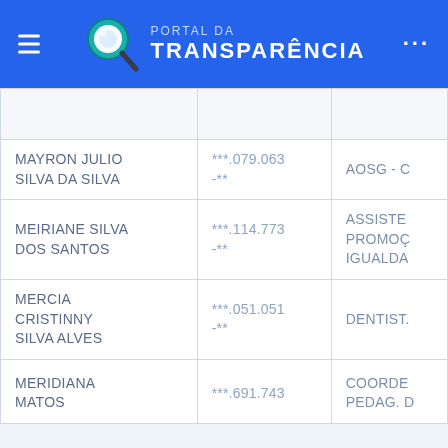PORTAL DA TRANSPARÊNCIA
| Nome | CPF | Cargo/Função |
| --- | --- | --- |
|  |  |  |
| MAYRON JULIO SILVA DA SILVA | ***.079.063-** | AOSG - C |
| MEIRIANE SILVA DOS SANTOS | ***.114.773-** | ASSISTE
PROMOÇ
IGUALDA |
| MERCIA CRISTINNY SILVA ALVES | ***.051.051-** | DENTIST. |
| MERIDIANA MATOS | ***.691.743 | COORDE
PEDAG. D |